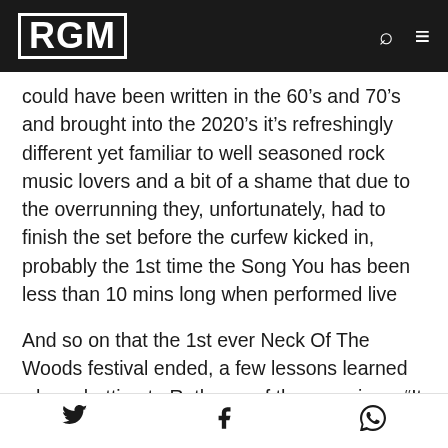RGM
could have been written in the 60’s and 70’s and brought into the 2020’s it’s refreshingly different yet familiar to well seasoned rock music lovers and a bit of a shame that due to the overrunning they, unfortunately, had to finish the set before the curfew kicked in, probably the 1st time the Song You has been less than 10 mins long when performed live
And so on that the 1st ever Neck Of The Woods festival ended, a few lessons learned when chatting to Ruth one of the organizers “It was unfortunate that there were so many events on the same weekend. When we initially looked at dates that the venue had available, only a few larger events were showing up and our festival was booked well in
Twitter | Facebook | WhatsApp